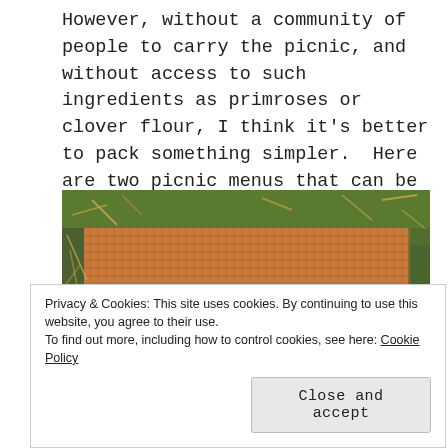However, without a community of people to carry the picnic, and without access to such ingredients as primroses or clover flour, I think it's better to pack something simpler.  Here are two picnic menus that can be carried by one person.
[Figure (photo): A wicker basket or mat photographed from above, lying on green grass with straw scattered around it.]
Privacy & Cookies: This site uses cookies. By continuing to use this website, you agree to their use.
To find out more, including how to control cookies, see here: Cookie Policy
Close and accept